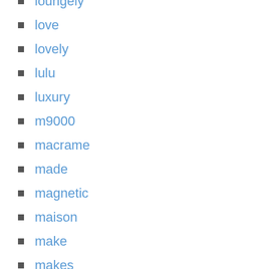loungely
love
lovely
lulu
luxury
m9000
macrame
made
magnetic
maison
make
makes
making
mango
manolo
marc
masculine
masonic
medium
mens
mercedes
mercedes-benz
metal